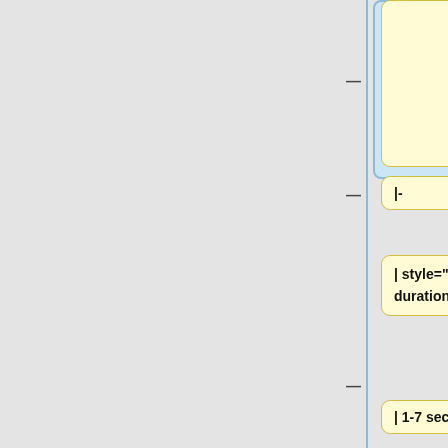various languages, adapted by OTP volunteers.
|-
| style="font-weight: bold;" | Subtitle duration
| 1-7 seconds
|-
| style="font-weight: bold;" | Max reading speed
| 21 characters / s
|-